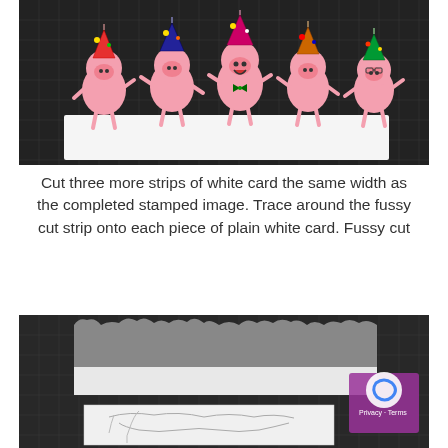[Figure (photo): Photo of five cartoon party pig cutouts standing in a row on a dark cutting mat background, each wearing a party hat and showing various expressions.]
Cut three more strips of white card the same width as the completed stamped image. Trace around the fussy cut strip onto each piece of plain white card. Fussy cut
[Figure (photo): Photo showing a fussy cut silhouette of the pig characters on top of a white card strip, placed on a dark cutting mat, with a traced pencil outline visible on a plain white card below.]